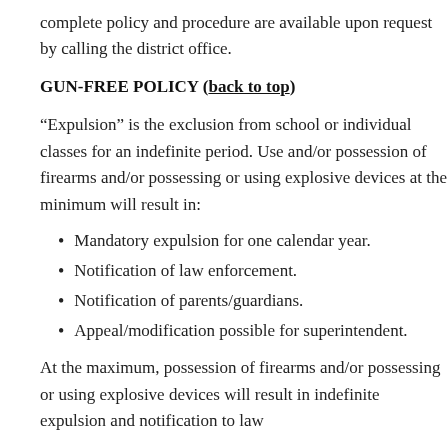complete policy and procedure are available upon request by calling the district office.
GUN-FREE POLICY (back to top)
“Expulsion” is the exclusion from school or individual classes for an indefinite period. Use and/or possession of firearms and/or possessing or using explosive devices at the minimum will result in:
Mandatory expulsion for one calendar year.
Notification of law enforcement.
Notification of parents/guardians.
Appeal/modification possible for superintendent.
At the maximum, possession of firearms and/or possessing or using explosive devices will result in indefinite expulsion and notification to law